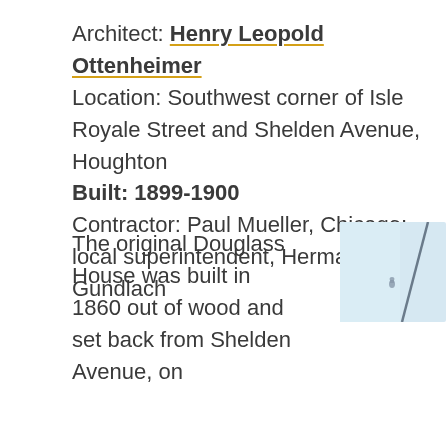Architect: Henry Leopold Ottenheimer
Location: Southwest corner of Isle Royale Street and Shelden Avenue, Houghton
Built: 1899-1900
Contractor: Paul Mueller, Chicago; local superintendent, Herman Gundlach
The original Douglass House was built in 1860 out of wood and set back from Shelden Avenue, on
[Figure (map): A light blue map/diagram showing a street intersection with a diagonal line, likely showing the location of the building.]